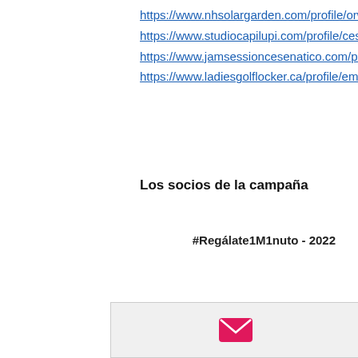https://www.nhsolargarden.com/profile/orwinlovick5/profile
https://www.studiocapilupi.com/profile/cesapellet/profile
https://www.jamsessioncesenatico.com/profile/quealyninom/profile
https://www.ladiesgolflocker.ca/profile/emdeolaldel/profile
Los socios de la campaña
#Regálate1M1nuto - 2022
[Figure (other): Email icon button — a pink/red envelope icon in a light gray box at the bottom of the page]